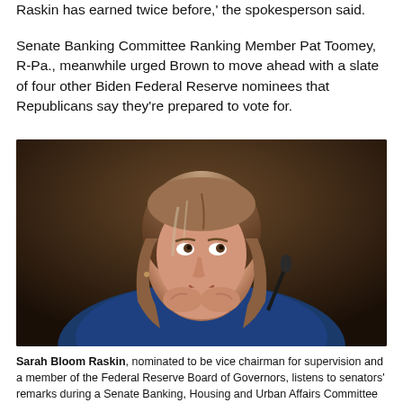Raskin has earned twice before,' the spokesperson said.
Senate Banking Committee Ranking Member Pat Toomey, R-Pa., meanwhile urged Brown to move ahead with a slate of four other Biden Federal Reserve nominees that Republicans say they're prepared to vote for.
[Figure (photo): Sarah Bloom Raskin seated, looking upward thoughtfully with hands clasped under her chin, wearing a blue patterned outfit, photographed at a Senate Banking Committee hearing in a dark background setting.]
Sarah Bloom Raskin, nominated to be vice chairman for supervision and a member of the Federal Reserve Board of Governors, listens to senators' remarks during a Senate Banking, Housing and Urban Affairs Committee